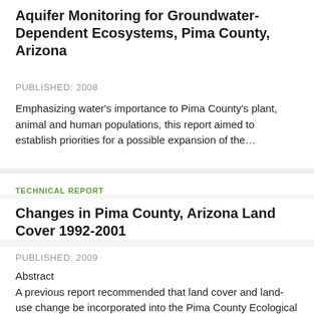Aquifer Monitoring for Groundwater-Dependent Ecosystems, Pima County, Arizona
PUBLISHED: 2008
Emphasizing water's importance to Pima County's plant, animal and human populations, this report aimed to establish priorities for a possible expansion of the…
TECHNICAL REPORT
Changes in Pima County, Arizona Land Cover 1992-2001
PUBLISHED: 2009
Abstract
A previous report recommended that land cover and land-use change be incorporated into the Pima County Ecological Monitoring Plan (Fonseca 2008). The…